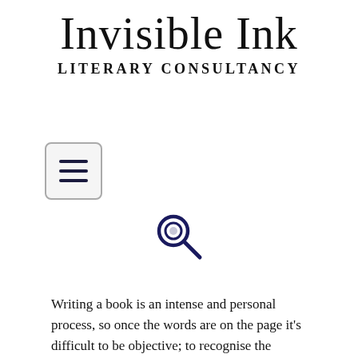Invisible Ink
LITERARY CONSULTANCY
[Figure (illustration): Hamburger/menu icon: a rounded rectangle button with three horizontal lines]
[Figure (illustration): Search/magnifying glass icon in dark navy blue]
MANUSCRIPT ASSESSMENT
Writing a book is an intense and personal process, so once the words are on the page it’s difficult to be objective; to recognise the strengths and